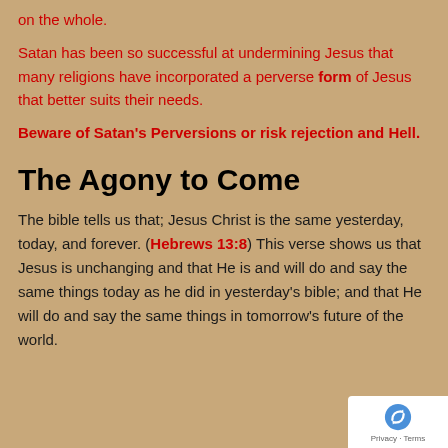on the whole.
Satan has been so successful at undermining Jesus that many religions have incorporated a perverse form of Jesus that better suits their needs.
Beware of Satan's Perversions or risk rejection and Hell.
The Agony to Come
The bible tells us that; Jesus Christ is the same yesterday, today, and forever. (Hebrews 13:8) This verse shows us that Jesus is unchanging and that He is and will do and say the same things today as he did in yesterday's bible; and that He will do and say the same things in tomorrow's future of the world.